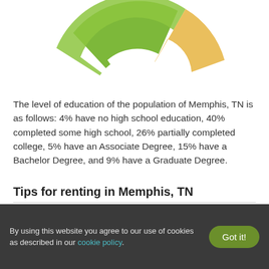[Figure (donut-chart): Partial view of a donut/pie chart showing education levels for Memphis, TN population. Green and yellow/orange segments visible at top of page.]
The level of education of the population of Memphis, TN is as follows: 4% have no high school education, 40% completed some high school, 26% partially completed college, 5% have an Associate Degree, 15% have a Bachelor Degree, and 9% have a Graduate Degree.
Tips for renting in Memphis, TN
By using this website you agree to our use of cookies as described in our cookie policy.